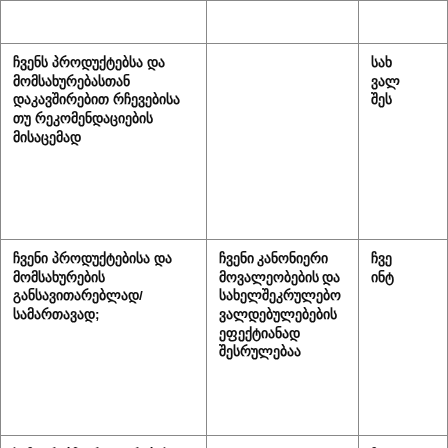|  |  |  |
| ჩვენს პროდუქტებსა და მომსახურებასთან დაკავშირებით რჩევებისა თუ რეკომენდაციების მისაცემად |  | სახ ვალ შეს |
| ჩვენი პროდუქტებისა და მომსახურების განსავითარებლად/სამართავად; | ჩვენი კანონიერი მოვალეობების და სახელშეკრულებო ვალდებულებების ეფექტიანად შესრულებაა | ჩვე ინტ |
| საჩივრებზე რეაგირების |  | ჩვე მოვ სახ |